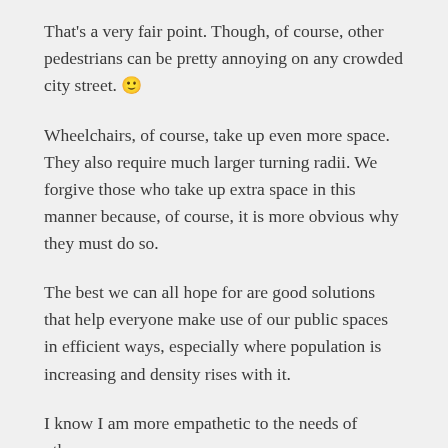That's a very fair point. Though, of course, other pedestrians can be pretty annoying on any crowded city street. 🙂
Wheelchairs, of course, take up even more space. They also require much larger turning radii. We forgive those who take up extra space in this manner because, of course, it is more obvious why they must do so.
The best we can all hope for are good solutions that help everyone make use of our public spaces in efficient ways, especially where population is increasing and density rises with it.
I know I am more empathetic to the needs of others now.